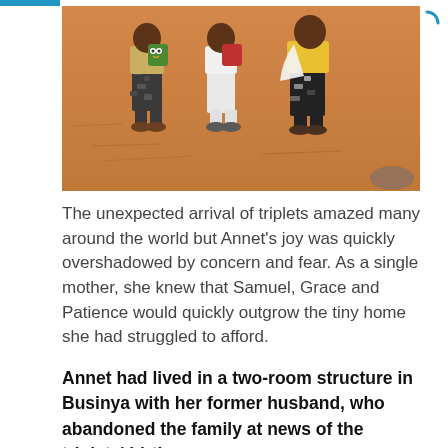[Figure (photo): Three young children standing on sandy ground, wearing colorful clothes and backpacks, viewed from behind and side angles. Warm orange/brown tones.]
The unexpected arrival of triplets amazed many around the world but Annet's joy was quickly overshadowed by concern and fear. As a single mother, she knew that Samuel, Grace and Patience would quickly outgrow the tiny home she had struggled to afford.
Annet had lived in a two-room structure in Businya with her former husband, who abandoned the family at news of the triplets' birth.